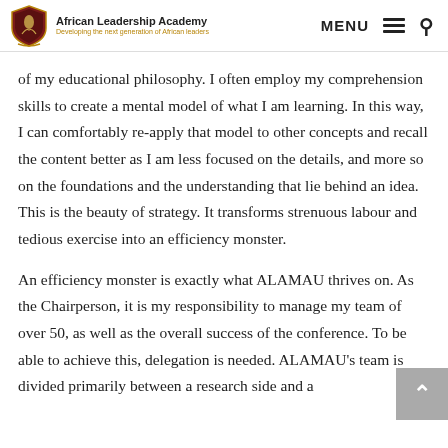African Leadership Academy — Developing the next generation of African leaders | MENU [search]
of my educational philosophy. I often employ my comprehension skills to create a mental model of what I am learning. In this way, I can comfortably re-apply that model to other concepts and recall the content better as I am less focused on the details, and more so on the foundations and the understanding that lie behind an idea. This is the beauty of strategy. It transforms strenuous labour and tedious exercise into an efficiency monster.
An efficiency monster is exactly what ALAMAU thrives on. As the Chairperson, it is my responsibility to manage my team of over 50, as well as the overall success of the conference. To be able to achieve this, delegation is needed. ALAMAU's team is divided primarily between a research side and a